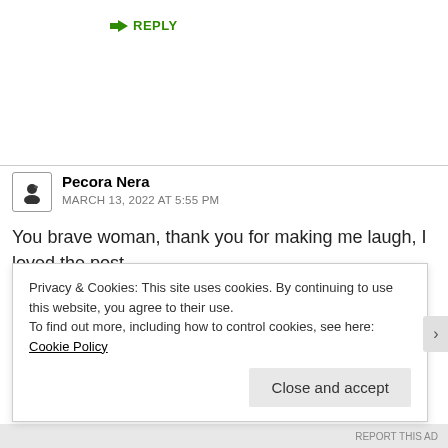↳ REPLY
Pecora Nera
MARCH 13, 2022 AT 5:55 PM
You brave woman, thank you for making me laugh, I loved the post.
★ Liked by 1 person
Privacy & Cookies: This site uses cookies. By continuing to use this website, you agree to their use.
To find out more, including how to control cookies, see here: Cookie Policy
Close and accept